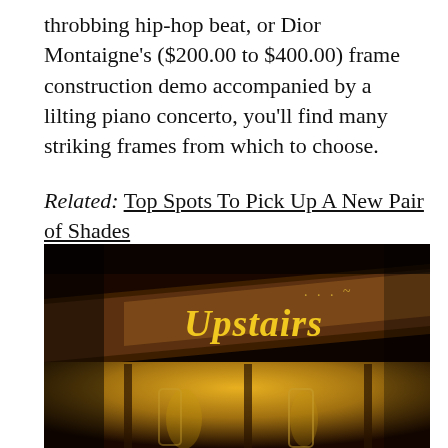throbbing hip-hop beat, or Dior Montaigne's ($200.00 to $400.00) frame construction demo accompanied by a lilting piano concerto, you'll find many striking frames from which to choose.
Related: Top Spots To Pick Up A New Pair of Shades
[Figure (photo): Dark, warm-toned photograph of a sign reading 'Upstairs' in yellow decorative script lettering on a dark wooden surface, with golden light visible below.]